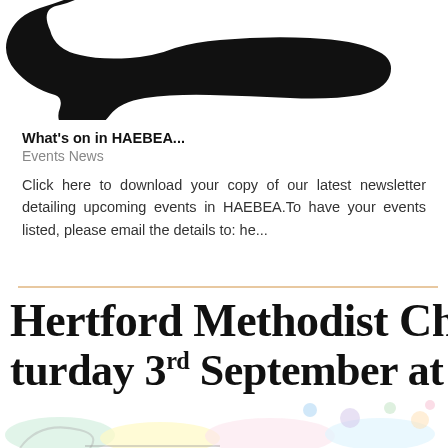[Figure (illustration): Black silhouette of a speech bubble / thought bubble shape at the top of the page, partially cropped]
What's on in HAEBEA...
Events News
Click here to download your copy of our latest newsletter detailing upcoming events in HAEBEA.To have your events listed, please email the details to: he...
[Figure (illustration): Decorative horizontal orange/peach divider line]
Hertford Methodist Church Saturday 3rd September at 3.00
[Figure (illustration): Colorful decorative bottom banner with pastel circles and ornamental design, partially visible]